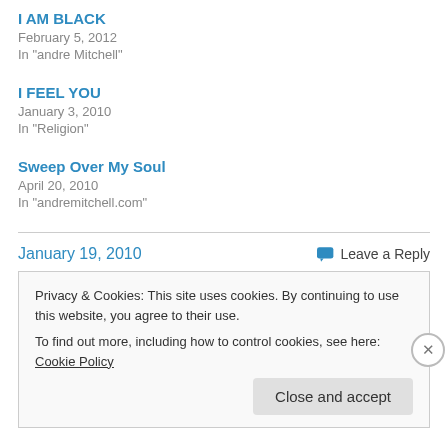I AM BLACK
February 5, 2012
In "andre Mitchell"
I FEEL YOU
January 3, 2010
In "Religion"
Sweep Over My Soul
April 20, 2010
In "andremitchell.com"
January 19, 2010
Leave a Reply
Privacy & Cookies: This site uses cookies. By continuing to use this website, you agree to their use.
To find out more, including how to control cookies, see here: Cookie Policy
Close and accept